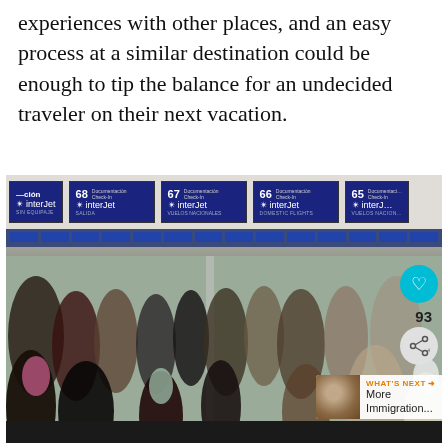experiences with other places, and an easy process at a similar destination could be enough to tip the balance for an undecided traveler on their next vacation.
[Figure (photo): Airport check-in hall with Interjet airline counters (numbered 65, 66, 67, 68) showing crowds of travelers queuing. Social media overlays visible: heart/like button with count 93, share button, and a 'What's Next' banner showing 'More Immigration...' with a thumbnail.]